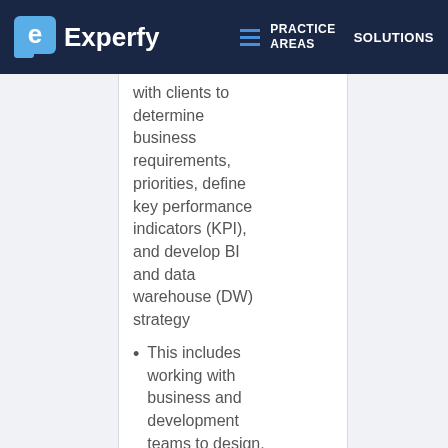Experfy | PRACTICE AREAS | SOLUTIONS
with clients to determine business requirements, priorities, define key performance indicators (KPI), and develop BI and data warehouse (DW) strategy
This includes working with business and development teams to design, and document dashboards, alerts, and